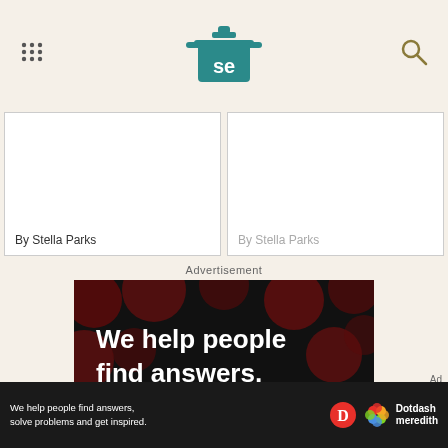Serious Eats logo header with menu and search icons
By Stella Parks
By Stella Parks
Advertisement
[Figure (infographic): Dotdash Meredith advertisement banner: black background with dark red bokeh circles. Text reads: We help people find answers, solve problems and get inspired. LEARN MORE. Shows Dotdash (D) logo in red circle and Dotdash Meredith colorful knot logo.]
[Figure (infographic): Bottom sticky ad bar: We help people find answers, solve problems and get inspired. Dotdash and Dotdash Meredith logos. Ad label in corner.]